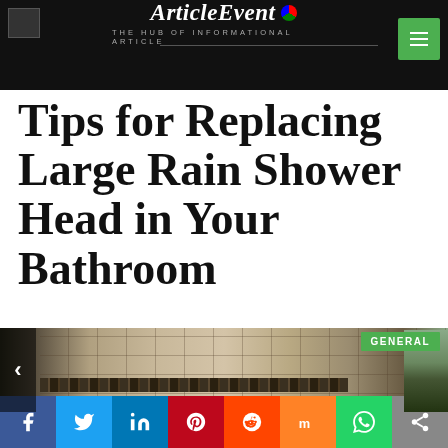ArticleEvent — THE HUB OF INFORMATIONAL ARTICLE
Tips for Replacing Large Rain Shower Head in Your Bathroom
[Figure (photo): Tiled shower bathroom interior with stone/mosaic tile pattern, with left navigation arrow and GENERAL badge overlay]
GENERAL